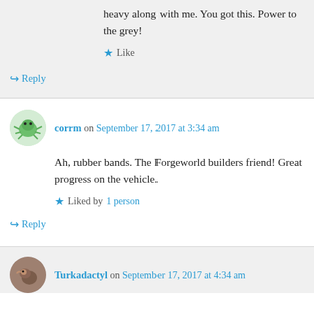heavy along with me. You got this. Power to the grey!
★ Like
↪ Reply
corrm on September 17, 2017 at 3:34 am
Ah, rubber bands. The Forgeworld builders friend! Great progress on the vehicle.
★ Liked by 1 person
↪ Reply
Turkadactyl on September 17, 2017 at 4:34 am